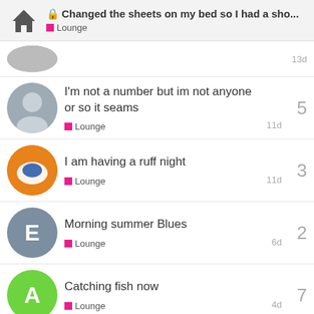Changed the sheets on my bed so I had a sho... — Lounge
Lounge — 13d
I'm not a number but im not anyone or so it seams — Lounge — 5 — 11d
I am having a ruff night — Lounge — 3 — 11d
Morning summer Blues — Lounge — 2 — 6d
Catching fish now — Lounge — 7 — 4d
Want to read more? Browse other topics in Lounge or view latest topics.